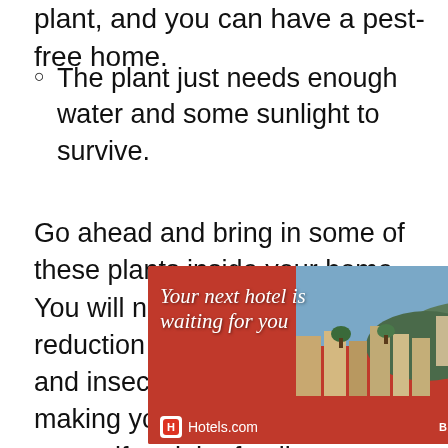plant, and you can have a pest-free home.
The plant just needs enough water and some sunlight to survive.
Go ahead and bring in some of these plants inside your home. You will notice a drastic reduction in the number of pests and insects in your house, making your home safe for yourself and the family.
[Figure (other): Hotels.com advertisement banner showing a hotel city view with text 'Your next hotel is waiting for you' and a 'BOOK NOW' button]